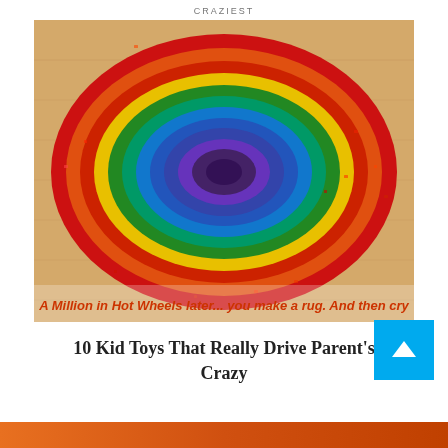CRAZIEST
[Figure (photo): A colorful oval rug made from Hot Wheels toy cars arranged in concentric rings of rainbow colors (red, orange, yellow, green, blue, purple) on a wooden floor. Text overlay reads: 'A Million in Hot Wheels later... you make a rug. And then cry']
10 Kid Toys That Really Drive Parent's Crazy